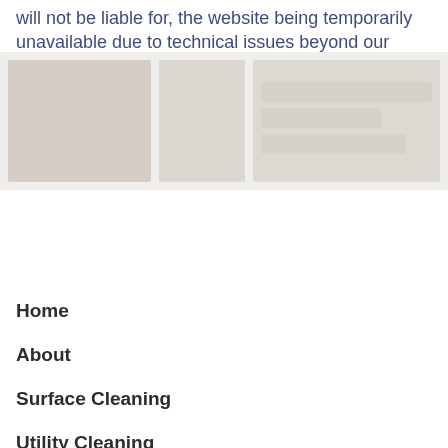will not be liable for, the website being temporarily unavailable due to technical issues beyond our control.
[Figure (photo): Placeholder image area showing faded/greyed out photographic content, split into left and right sections]
Home
About
Surface Cleaning
Utility Cleaning